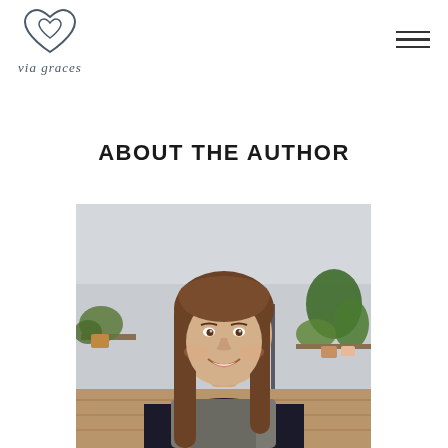via graces logo and navigation
ABOUT THE AUTHOR
[Figure (photo): Portrait photo of a smiling young woman with long brown hair, wearing a dark top and gray vest, seated in front of shelves with green plants in a bright room.]